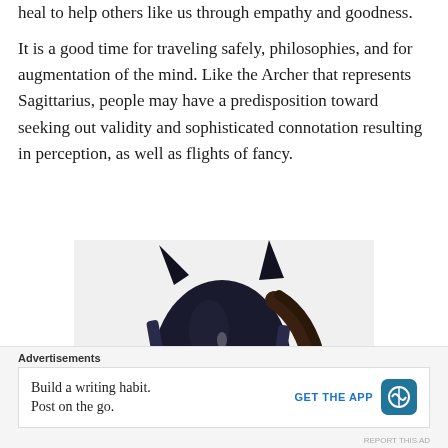heal to help others like us through empathy and goodness.
It is a good time for traveling safely, philosophies, and for augmentation of the mind. Like the Archer that represents Sagittarius, people may have a predisposition toward seeking out validity and sophisticated connotation resulting in perception, as well as flights of fancy.
[Figure (photo): Close-up photograph of a dark/black horse's head wearing a bridle and blinders, viewed from slightly below, with white background]
Advertisements
Build a writing habit.
Post on the go.
GET THE APP